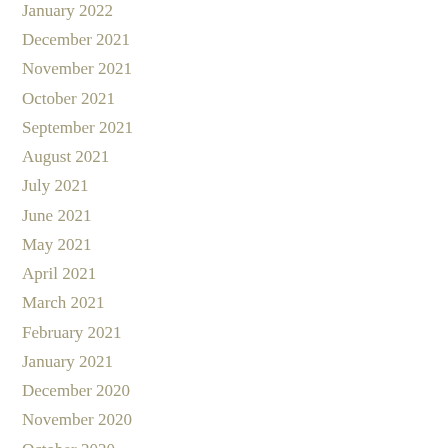January 2022
December 2021
November 2021
October 2021
September 2021
August 2021
July 2021
June 2021
May 2021
April 2021
March 2021
February 2021
January 2021
December 2020
November 2020
October 2020
September 2020
August 2020
July 2020
June 2020